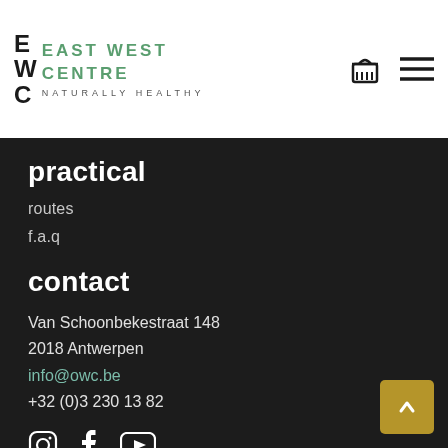EAST WEST CENTRE — NATURALLY HEALTHY
practical
routes
f.a.q
contact
Van Schoonbekestraat 148
2018 Antwerpen
info@owc.be
+32 (0)3 230 13 82